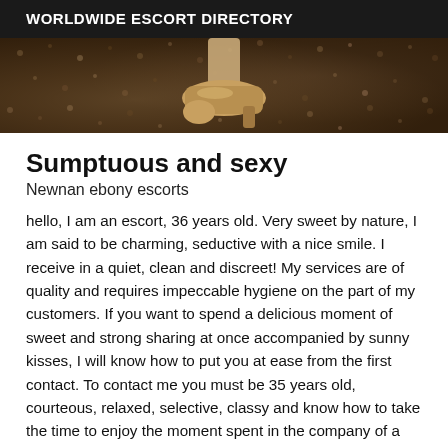WORLDWIDE ESCORT DIRECTORY
[Figure (photo): Partial photo showing a shoe/heel on a patterned carpet or rug surface]
Sumptuous and sexy
Newnan ebony escorts
hello, I am an escort, 36 years old. Very sweet by nature, I am said to be charming, seductive with a nice smile. I receive in a quiet, clean and discreet! My services are of quality and requires impeccable hygiene on the part of my customers. If you want to spend a delicious moment of sweet and strong sharing at once accompanied by sunny kisses, I will know how to put you at ease from the first contact. To contact me you must be 35 years old, courteous, relaxed, selective, classy and know how to take the time to enjoy the moment spent in the company of a beautiful creature healthy body and mind without headache ... I will be